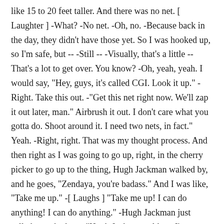like 15 to 20 feet taller. And there was no net. [ Laughter ] -What? -No net. -Oh, no. -Because back in the day, they didn't have those yet. So I was hooked up, so I'm safe, but -- -Still -- -Visually, that's a little -- That's a lot to get over. You know? -Oh, yeah, yeah. I would say, "Hey, guys, it's called CGI. Look it up." -Right. Take this out. -"Get this net right now. We'll zap it out later, man." Airbrush it out. I don't care what you gotta do. Shoot around it. I need two nets, in fact." Yeah. -Right, right. That was my thought process. And then right as I was going to go up, right, in the cherry picker to go up to the thing, Hugh Jackman walked by, and he goes, "Zendaya, you're badass." And I was like, "Take me up." -[ Laughs ] "Take me up! I can do anything! I can do anything." -Hugh Jackman just called me a badass. -"Hugh Jackman told me I'm a badass. That's all I need to hear, man." You and Zac Efron,